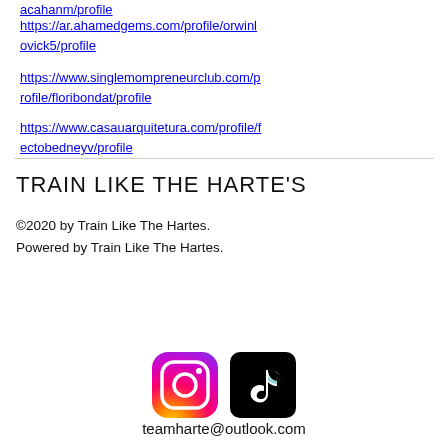acahanm/profile
https://ar.ahamedgems.com/profile/orwinlovick5/profile
https://www.singlemompreneurclub.com/profile/floribondat/profile
https://www.casauarquitetura.com/profile/fectobedneyv/profile
TRAIN LIKE THE HARTE'S
©2020 by Train Like The Hartes. Powered by Train Like The Hartes.
[Figure (logo): Instagram logo (gradient pink/orange/purple circle with camera icon)]
[Figure (logo): TikTok logo (black square with white musical note icon)]
teamharte@outlook.com